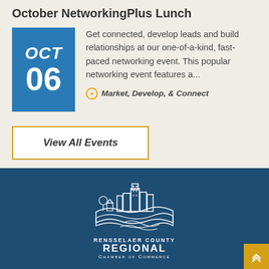October NetworkingPlus Lunch
Get connected, develop leads and build relationships at our one-of-a-kind, fast-paced networking event. This popular networking event features a...
Market, Develop, & Connect
View All Events
[Figure (logo): Rensselaer County Regional Chamber of Commerce logo — white illustration of city skyline with rolling hills and river on dark blue background, with text RENSSELAER COUNTY REGIONAL CHAMBER of COMMERCE]